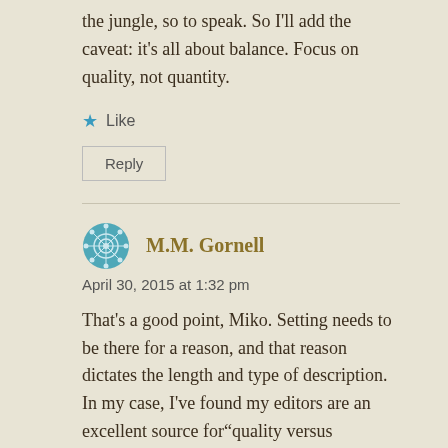the jungle, so to speak. So I'll add the caveat: it's all about balance. Focus on quality, not quantity.
★ Like
Reply
M.M. Gornell
April 30, 2015 at 1:32 pm
That's a good point, Miko. Setting needs to be there for a reason, and that reason dictates the length and type of description. In my case, I've found my editors are an excellent source for"quality versus quantity." Easy to get lost in